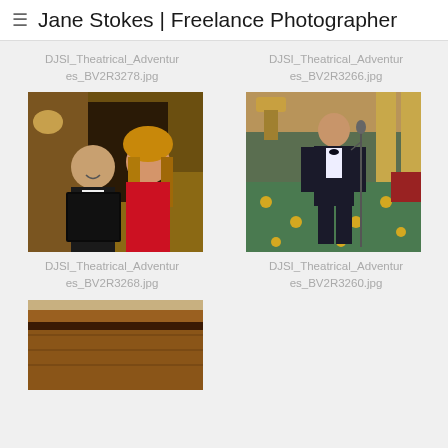≡  Jane Stokes | Freelance Photographer
DJSI_Theatrical_Adventures_BV2R3278.jpg
DJSI_Theatrical_Adventures_BV2R3266.jpg
[Figure (photo): Two people in formal attire reading from a black folder, woman in red dress with long blonde hair, man in tuxedo, warm interior setting]
[Figure (photo): Man in tuxedo standing at a microphone in a hotel ballroom with patterned carpet and yellow flowers]
DJSI_Theatrical_Adventures_BV2R3268.jpg
DJSI_Theatrical_Adventures_BV2R3260.jpg
[Figure (photo): Partial view of a wooden piano or instrument in an interior setting, cropped at bottom of page]